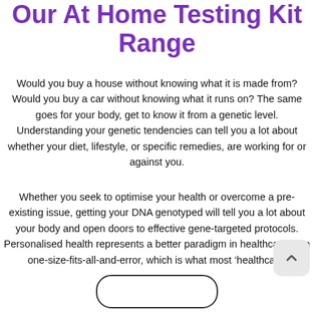Our At Home Testing Kit Range
Would you buy a house without knowing what it is made from? Would you buy a car without knowing what it runs on? The same goes for your body, get to know it from a genetic level. Understanding your genetic tendencies can tell you a lot about whether your diet, lifestyle, or specific remedies, are working for or against you.
Whether you seek to optimise your health or overcome a pre-existing issue, getting your DNA genotyped will tell you a lot about your body and open doors to effective gene-targeted protocols. Personalised health represents a better paradigm in healthcare than one-size-fits-all-and-error, which is what most 'healthcare'